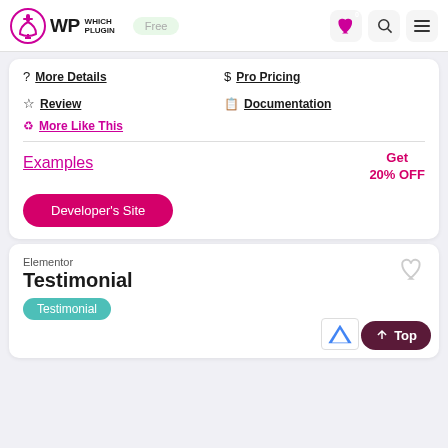WP Which Plugin — Free
? More Details
$ Pro Pricing
☆ Review
📋 Documentation
♻ More Like This
Examples
Get 20% OFF
Developer's Site
Elementor
Testimonial
Testimonial